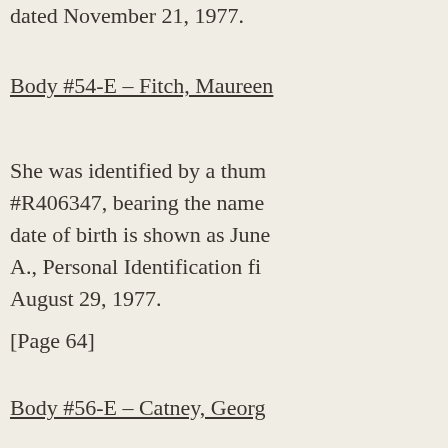dated November 21, 1977.
Body #54-E – Fitch, Maureen
She was identified by a thumbprint #R406347, bearing the name date of birth is shown as June A., Personal Identification fi August 29, 1977.
[Page 64]
Body #56-E – Catney, Georg
She was identified by fingerp card dated August 29, 1977.
Body #57-E – McKinnie L